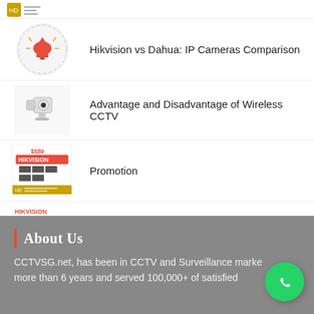[Figure (screenshot): Small thumbnail with orange/gold icon and gray lines — top navigation or article thumbnail]
Hikvision vs Dahua: IP Cameras Comparison
Advantage and Disadvantage of Wireless CCTV
Promotion
Pros and cons of an IP camera
About Us
CCTVSG.net, has been in CCTV and Surveillance market more than 6 years and served 100,000+ of satisfied